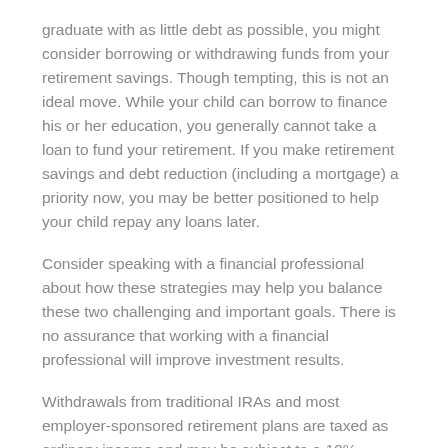graduate with as little debt as possible, you might consider borrowing or withdrawing funds from your retirement savings. Though tempting, this is not an ideal move. While your child can borrow to finance his or her education, you generally cannot take a loan to fund your retirement. If you make retirement savings and debt reduction (including a mortgage) a priority now, you may be better positioned to help your child repay any loans later.
Consider speaking with a financial professional about how these strategies may help you balance these two challenging and important goals. There is no assurance that working with a financial professional will improve investment results.
Withdrawals from traditional IRAs and most employer-sponsored retirement plans are taxed as ordinary income and may be subject to a 10% penalty tax if taken prior to age 59½, unless an exception applies. (IRA withdrawals used for qualified higher-